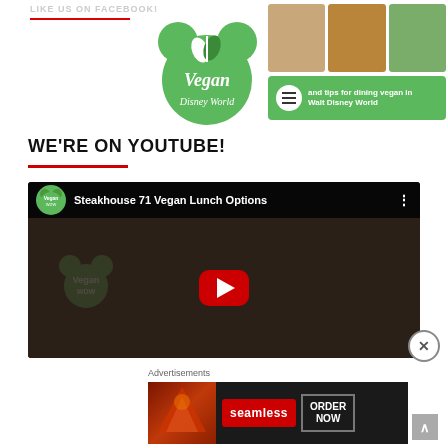[Figure (logo): Vegan Disney World website header banner with circular green logo showing Mickey Mouse ears with leaf design and text 'Vegan Disney World', food photos strip, and green navigation banner reading 'and tips for dining vegan in Walt Disney World']
WE'RE ON YOUTUBE!
[Figure (screenshot): YouTube video thumbnail for 'Steakhouse 71 Vegan Lunch Options' showing dark restaurant scene with onion rings, red YouTube play button, and Vegan WDW channel logo]
Advertisements
[Figure (photo): Advertisement banner for Seamless food delivery showing pizza image, Seamless red logo, and ORDER NOW button]